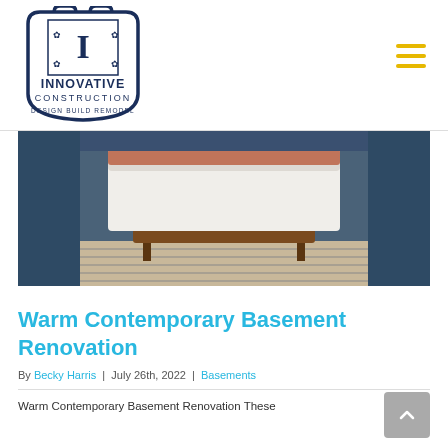[Figure (logo): Innovative Construction logo — dark navy blue shield/badge outline with decorative letter I and text INNOVATIVE CONSTRUCTION DESIGN BUILD REMODEL]
[Figure (photo): Photo of a bed with white bedding and a wooden bench footboard, flanked by dark navy blue wardrobe/cabinet panels, on a striped rug — a basement bedroom renovation]
Warm Contemporary Basement Renovation
By Becky Harris | July 26th, 2022 | Basements
Warm Contemporary Basement Renovation These